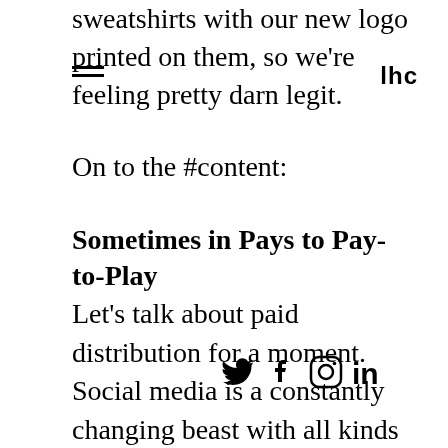sweatshirts with our new logo printed on them, so we're feeling pretty darn legit.
lhc
On to the #content:
Sometimes in Pays to Pay-to-Play
Let's talk about paid distribution for a moment. Social media is a constantly changing beast with all kinds of shifting best practice ideas. One thing is clear, though: in order for your content to reach its desired audience on social, most brands need to invest in some paid distro. And it's very easy to waste a